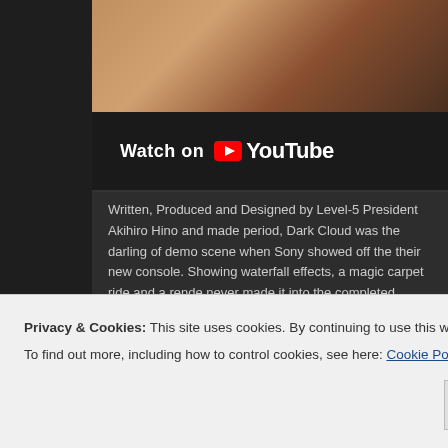[Figure (screenshot): Video thumbnail showing a scene from Dark Cloud game, partial view with brownish tones]
[Figure (screenshot): YouTube 'Watch on YouTube' embed bar with play icon and YouTube logo on dark background]
Written, Produced and Designed by Level-5 President Akihiro Hino and made period, Dark Cloud was the darling of demo scene when Sony showed off their new console. Showing waterfall effects, a magic carpet ride and a rende never made it into the completed game) the demonstration animatic quickly b ahead of its debut in playable format in 1999 at the Tokyo Game Show. Thou spiritual successor in 'Dark Chronicle' (a direct sequel in America where it wa has never received a direct continuation of the world or narrative presented.
Graphically this title employs 3D models for characters that retain cartoon-like its environments in 3D with a rotatable camera. The textures mapped to thes
Privacy & Cookies: This site uses cookies. By continuing to use this website, you agree to their use. To find out more, including how to control cookies, see here: Cookie Policy
Close and accept
theme at its outset, which does mesh into a more generic fantasy setting the